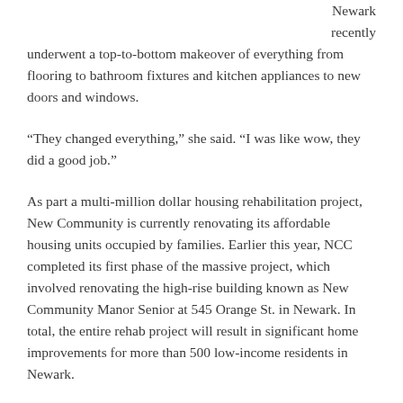Newark recently underwent a top-to-bottom makeover of everything from flooring to bathroom fixtures and kitchen appliances to new doors and windows.
“They changed everything,” she said. “I was like wow, they did a good job.”
As part a multi-million dollar housing rehabilitation project, New Community is currently renovating its affordable housing units occupied by families. Earlier this year, NCC completed its first phase of the massive project, which involved renovating the high-rise building known as New Community Manor Senior at 545 Orange St. in Newark. In total, the entire rehab project will result in significant home improvements for more than 500 low-income residents in Newark.
James, 28, lives in a two-bedroom apartment with her 7-year-old